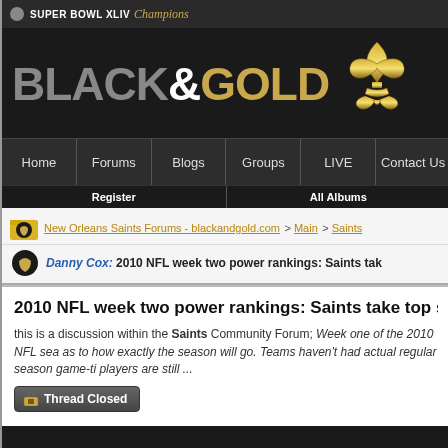SUPER BOWL XLIV Champions
[Figure (logo): BLACK&GOLD logo with fleur-de-lis emblem on black background]
Home | Forums | Blogs | Groups | LIVE | Contact Us
Register | All Albums
New Orleans Saints Forums - blackandgold.com > Main > Saints
Danny Cox: 2010 NFL week two power rankings: Saints tak
2010 NFL week two power rankings: Saints take top spot, Texans
this is a discussion within the Saints Community Forum; Week one of the 2010 NFL sea as to how exactly the season will go. Teams haven't had actual regular season game-ti players are still ...
Thread Closed
09-15-2010, 07:12 PM
Rating: (0 votes - average)
Week one of the 2010 NFL season is a said to not bring about too much